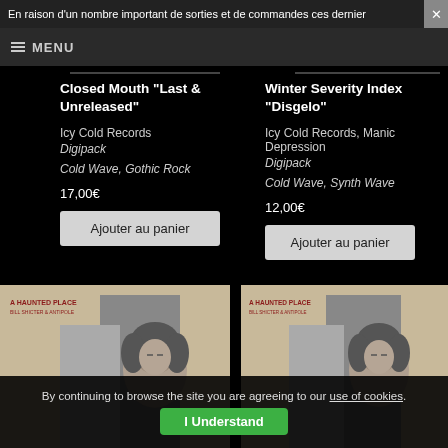En raison d'un nombre important de sorties et de commandes ces dernier
MENU
Closed Mouth "Last & Unreleased"
Icy Cold Records
Digipack
Cold Wave, Gothic Rock
17,00€
Ajouter au panier
Winter Severity Index "Disgelo"
Icy Cold Records, Manic Depression
Digipack
Cold Wave, Synth Wave
12,00€
Ajouter au panier
[Figure (photo): Album cover: A Haunted Place - black and white portrait of a young person, beige/tan background, left panel]
[Figure (photo): Album cover: A Haunted Place - black and white portrait of a young person, beige/tan background, right panel]
By continuing to browse the site you are agreeing to our use of cookies.
I Understand